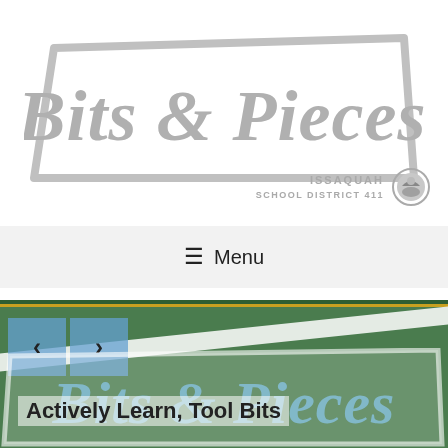[Figure (logo): Bits & Pieces logo in gray with a trapezoidal border outline]
[Figure (logo): Issaquah School District 411 logo with text and circular emblem]
☰ Menu
[Figure (screenshot): Green banner with navigation arrows left and right, overlaid with Bits & Pieces logo in blue/white, and text 'Actively Learn, Tool Bits']